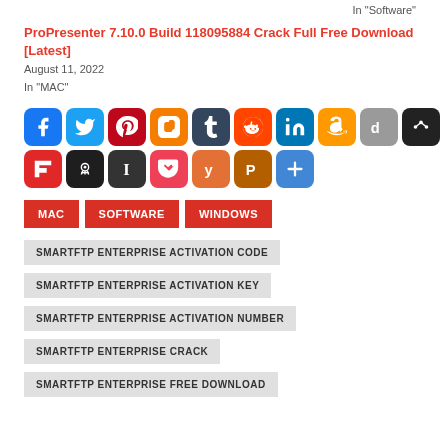In "Software"
ProPresenter 7.10.0 Build 118095884 Crack Full Free Download [Latest]
August 11, 2022
In "MAC"
[Figure (infographic): Social sharing icons: Facebook, Twitter, Pinterest, Blogger, Tumblr, Reddit, LinkedIn, Amazon, Diigo, Mix, Flipboard, Hacker News, Instapaper, Pocket, Yummly, Print Friendly, Share]
MAC
SOFTWARE
WINDOWS
SMARTFTP ENTERPRISE ACTIVATION CODE
SMARTFTP ENTERPRISE ACTIVATION KEY
SMARTFTP ENTERPRISE ACTIVATION NUMBER
SMARTFTP ENTERPRISE CRACK
SMARTFTP ENTERPRISE FREE DOWNLOAD